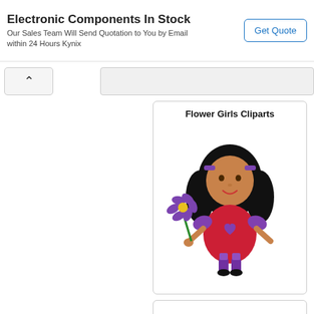[Figure (infographic): Advertisement banner: 'Electronic Components In Stock' with subtitle 'Our Sales Team Will Send Quotation to You by Email within 24 Hours Kynix' and a 'Get Quote' button]
[Figure (illustration): Clipart of a flower girl: a cartoon girl with black curly hair, purple hair clips, brown skin, red dress with a purple heart, purple sleeves and boots, holding a purple flower with a green stem]
Flower Girls Cliparts
The Very Quiet Cricket Coloring Pages